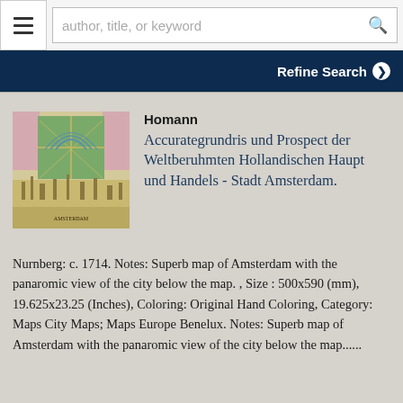author, title, or keyword
Refine Search
[Figure (map): Antique hand-colored map of Amsterdam showing bird's eye view of city with panoramic view below]
Homann
Accurategrundris und Prospect der Weltberuhmten Hollandischen Haupt und Handels - Stadt Amsterdam.
Nurnberg: c. 1714. Notes: Superb map of Amsterdam with the panaromic view of the city below the map. , Size : 500x590 (mm), 19.625x23.25 (Inches), Coloring: Original Hand Coloring, Category: Maps City Maps; Maps Europe Benelux. Notes: Superb map of Amsterdam with the panaromic view of the city below the map......